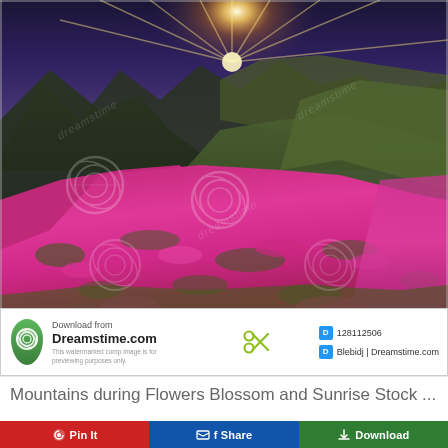[Figure (photo): Mountain landscape with pink/magenta rhododendron flowers in bloom covering hillsides, green mountains in background, dramatic sunrise with sunrays bursting over mountain peaks, Dreamstime watermark overlay]
Download from
Dreamstime.com
This watermarked comp image is for previewing purposes only.
128112506
Blebidj | Dreamstime.com
Mountains during Flowers Blossom and Sunrise Stock ...
Pin It    f Share    Download